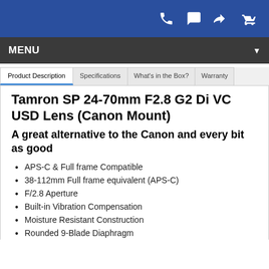Navigation bar with icons (phone, chat, login, cart)
MENU
Product Description | Specifications | What's in the Box? | Warranty
Tamron SP 24-70mm F2.8 G2 Di VC USD Lens (Canon Mount)
A great alternative to the Canon and every bit as good
APS-C & Full frame Compatible
38-112mm Full frame equivalent (APS-C)
F/2.8 Aperture
Built-in Vibration Compensation
Moisture Resistant Construction
Rounded 9-Blade Diaphragm